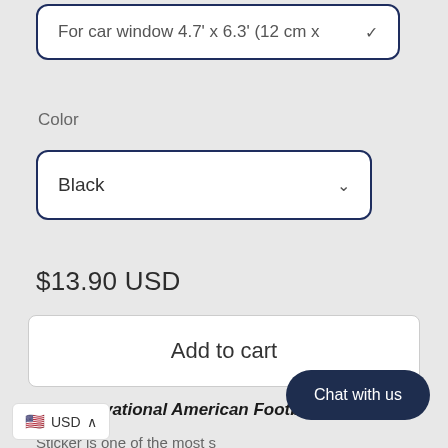For car window 4.7' x 6.3' (12 cm x ∨
Color
Black ∨
$13.90 USD
Add to cart
Motivational American Football quotes
Sticker is one of the most s... best decorations home ... ll sticker with a sports theme